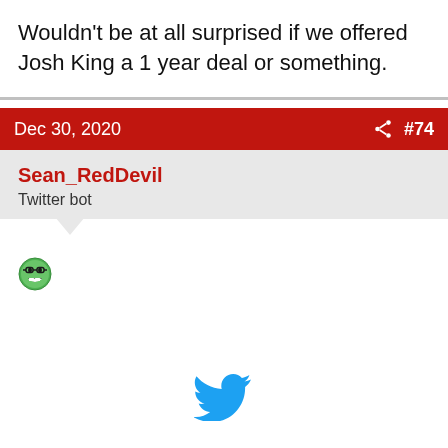Wouldn't be at all surprised if we offered Josh King a 1 year deal or something.
Dec 30, 2020  #74
Sean_RedDevil
Twitter bot
[Figure (illustration): Grinning face with glasses emoji (😎-style grin emoji in green circle)]
[Figure (logo): Twitter bird logo in blue]